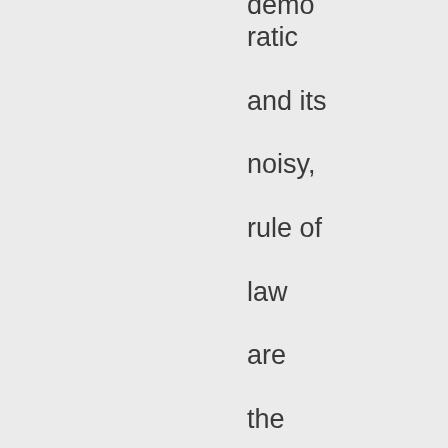democratic and its noisy, rule of law are the cameras, pit bosses and roaming security ), bright